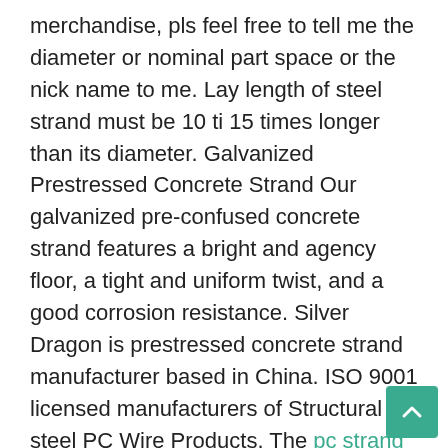merchandise, pls feel free to tell me the diameter or nominal part space or the nick name to me. Lay length of steel strand must be 10 ti 15 times longer than its diameter. Galvanized Prestressed Concrete Strand Our galvanized pre-confused concrete strand features a bright and agency floor, a tight and uniform twist, and a good corrosion resistance. Silver Dragon is prestressed concrete strand manufacturer based in China. ISO 9001 licensed manufacturers of Structural steel PC Wire Products. The pc strand price unbonded computer strand metal wire products are most popular in India, Pakistan, Vietnam, Indonesia, Brazil, Russia, Mexico, United States, Turkey, Germany, and so on. Epoxy-coated PC strand outperforms all different corrosion protection systems, together with galvanized strand, in accelerated corrosion exams. Uses: Primarily used as constructing materials reinforcing strand for concrete structures corresponding to Bridge Beam, Mining anchoring, Slope reinforcement, Dam reinforcement, offshore oil platform, Nuclear energy plant, railway sleeper, bridges, railway